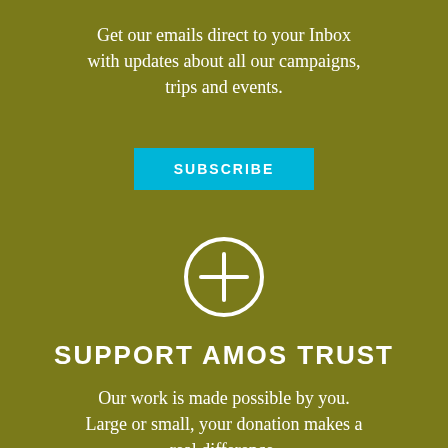Get our emails direct to your Inbox with updates about all our campaigns, trips and events.
[Figure (other): Cyan/turquoise SUBSCRIBE button]
[Figure (other): White circle with plus sign icon]
SUPPORT AMOS TRUST
Our work is made possible by you. Large or small, your donation makes a real difference.